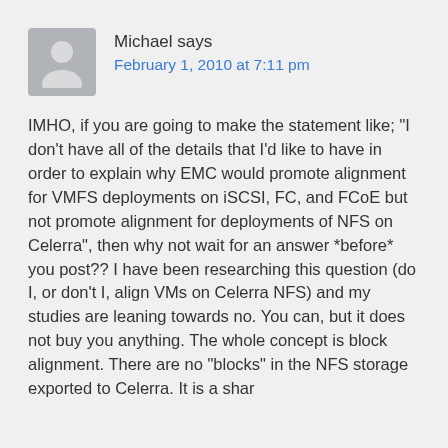Michael says
February 1, 2010 at 7:11 pm
IMHO, if you are going to make the statement like; "I don't have all of the details that I'd like to have in order to explain why EMC would promote alignment for VMFS deployments on iSCSI, FC, and FCoE but not promote alignment for deployments of NFS on Celerra", then why not wait for an answer *before* you post?? I have been researching this question (do I, or don't I, align VMs on Celerra NFS) and my studies are leaning towards no. You can, but it does not buy you anything. The whole concept is block alignment. There are no "blocks" in the NFS storage exported to Celerra. It is a shar...